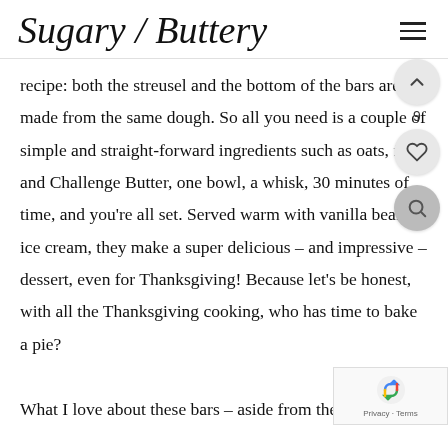Sugary / Buttery
recipe: both the streusel and the bottom of the bars are made from the same dough. So all you need is a couple of simple and straight-forward ingredients such as oats, flour and Challenge Butter, one bowl, a whisk, 30 minutes of time, and you're all set. Served warm with vanilla bean ice cream, they make a super delicious – and impressive – dessert, even for Thanksgiving! Because let's be honest, with all the Thanksgiving cooking, who has time to bake a pie?

What I love about these bars – aside from the